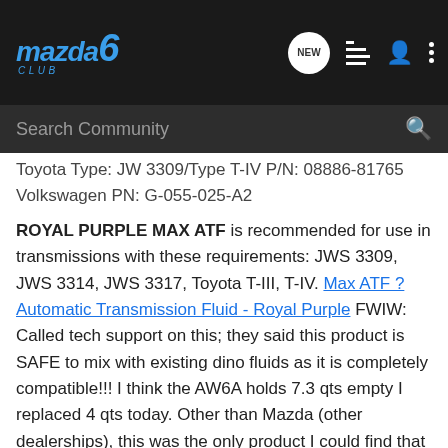[Figure (screenshot): Mazda6 Club website navigation bar with logo, NEW bubble icon, list icon, person icon, and dots menu icon on dark background]
[Figure (screenshot): Search Community search bar on dark background]
Toyota Type: JW 3309/Type T-IV P/N: 08886-81765
Volkswagen PN: G-055-025-A2
ROYAL PURPLE MAX ATF is recommended for use in transmissions with these requirements: JWS 3309, JWS 3314, JWS 3317, Toyota T-III, T-IV. Max ATF ? Automatic Transmission Fluid - Royal Purple FWIW: Called tech support on this; they said this product is SAFE to mix with existing dino fluids as it is completely compatible!!! I think the AW6A holds 7.3 qts empty I replaced 4 qts today. Other than Mazda (other dealerships), this was the only product I could find that meets JWS 3309/T-IV spec.
Mobil ATF 3309 is recommended for use in transmissions made by Aisin-Warner requiring fluids approved against JWS